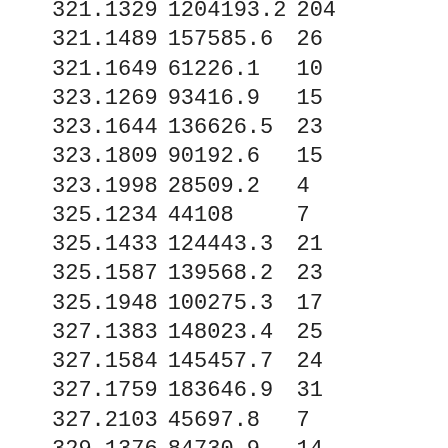| 321.1329 | 1204193.2 | 204 |
| 321.1489 | 157585.6 | 26 |
| 321.1649 | 61226.1 | 10 |
| 323.1269 | 93416.9 | 15 |
| 323.1644 | 136626.5 | 23 |
| 323.1809 | 90192.6 | 15 |
| 323.1998 | 28509.2 | 4 |
| 325.1234 | 44108 | 7 |
| 325.1433 | 124443.3 | 21 |
| 325.1587 | 139568.2 | 23 |
| 325.1948 | 100275.3 | 17 |
| 327.1383 | 148023.4 | 25 |
| 327.1584 | 145457.7 | 24 |
| 327.1759 | 183646.9 | 31 |
| 327.2103 | 45697.8 | 7 |
| 329.1376 | 84730.9 | 14 |
| 329.1539 | 247823.8 | 42 |
| 329.1904 | 104073.1 | 17 |
| 329.2261 | 46202.6 | 7 |
| 331.1169 | 532301.4 | 90 |
| 331.1703 | 297239.6 | 48 |